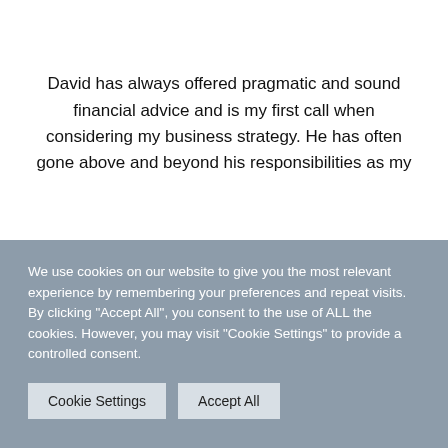David has always offered pragmatic and sound financial advice and is my first call when considering my business strategy. He has often gone above and beyond his responsibilities as my
We use cookies on our website to give you the most relevant experience by remembering your preferences and repeat visits. By clicking "Accept All", you consent to the use of ALL the cookies. However, you may visit "Cookie Settings" to provide a controlled consent.